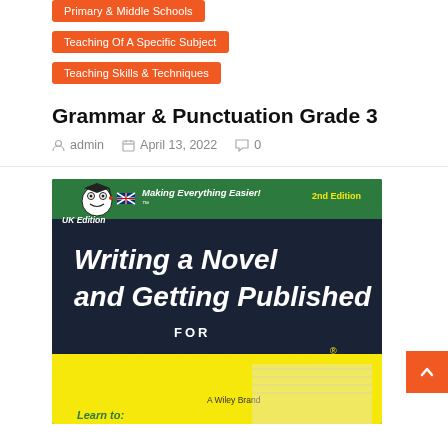Primary & Middle Schools
Teaching Of A Specific Subject
Teaching Skills & Techniques
Grammar & Punctuation Grade 3
admin  April 13, 2022  0
[Figure (photo): Book cover of 'Writing a Novel and Getting Published For Dummies, 2nd Edition, UK Edition' — a Wiley Brand book with yellow and dark navy cover featuring the Dummies mascot, 'Making Everything Easier!' tagline, and 'Learn to:' section at the bottom.]